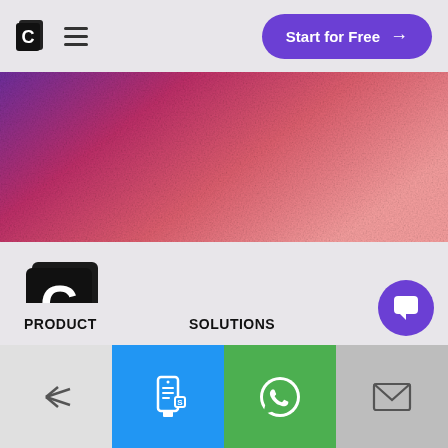CometChat logo, hamburger menu, Start for Free button
[Figure (illustration): Gradient banner with purple to pink/red noise texture gradient]
[Figure (logo): CometChat large logo - black document shape with white C letter]
Looking for CometChat Go?
Visit its new home at AtomChat.com
PRODUCT
SOLUTIONS
[Figure (infographic): Bottom toolbar with share icon (light bg), site icon (blue bg), WhatsApp icon (green bg), email icon (gray bg), and purple chat bubble button]